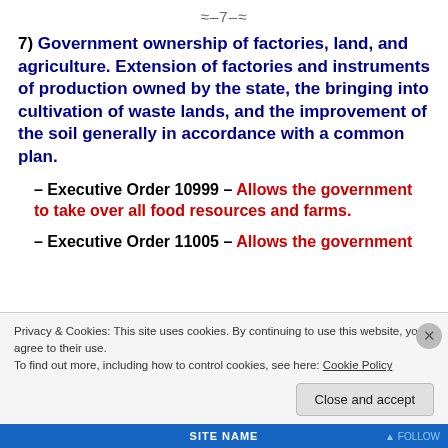≈–7–≈
7) Government ownership of factories, land, and agriculture. Extension of factories and instruments of production owned by the state, the bringing into cultivation of waste lands, and the improvement of the soil generally in accordance with a common plan.
– Executive Order 10999 – Allows the government to take over all food resources and farms.
– Executive Order 11005 – Allows the government
Privacy & Cookies: This site uses cookies. By continuing to use this website, you agree to their use.
To find out more, including how to control cookies, see here: Cookie Policy
Close and accept